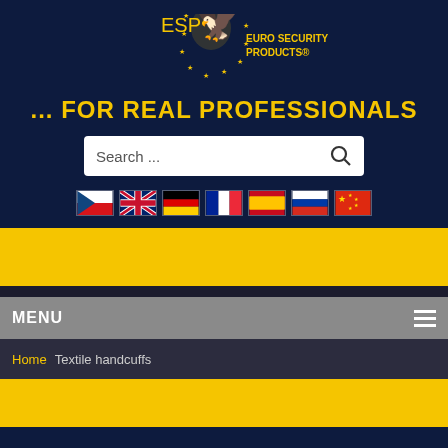[Figure (logo): ESP Euro Security Products logo with eagle and gold stars on dark navy background]
... FOR REAL PROFESSIONALS
Search ...
[Figure (illustration): Row of 7 country flags: Czech Republic, UK, Germany, France, Spain, Russia, China]
[Figure (other): Yellow banner section]
MENU
Home  Textile handcuffs